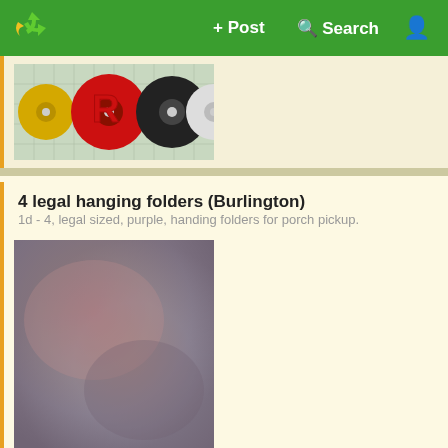+ Post   Search   [user icon]
[Figure (photo): Photo of CDs/DVDs on graph paper, including a gold disc, a red disc with large R, and a black disc]
4 legal hanging folders (Burlington)
1d - 4, legal sized, purple, handing folders for porch pickup.
[Figure (photo): Blurry/blurred photo of purple legal hanging folders, pinkish-gray tones]